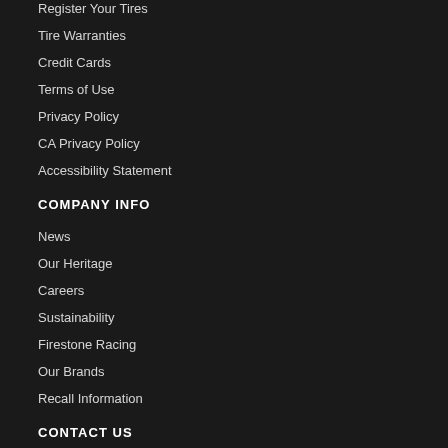Register Your Tires
Tire Warranties
Credit Cards
Terms of Use
Privacy Policy
CA Privacy Policy
Accessibility Statement
COMPANY INFO
News
Our Heritage
Careers
Sustainability
Firestone Racing
Our Brands
Recall Information
CONTACT US
Click to Chat